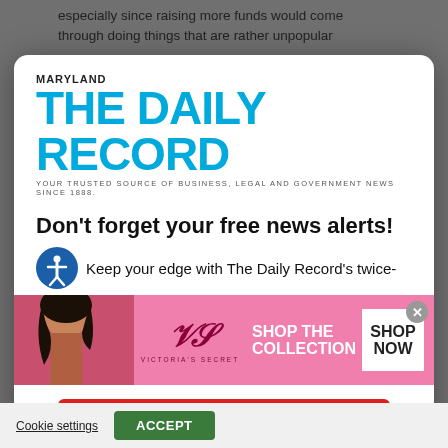especially since raising more funds would come through doing things that are rather unpopular
[Figure (logo): Maryland The Daily Record newspaper logo with tagline: YOUR TRUSTED SOURCE OF BUSINESS, LEGAL AND GOVERNMENT NEWS SINCE 1888.]
Don't forget your free news alerts!
Keep your edge with The Daily Record's twice-
[Figure (photo): Victoria's Secret advertisement banner. Shows a model on the left, Victoria's Secret logo in center, and 'SHOP THE COLLECTION' text with 'SHOP NOW' button on the right. Pink background.]
SIGN UP FOR FREE
Cookie settings
ACCEPT